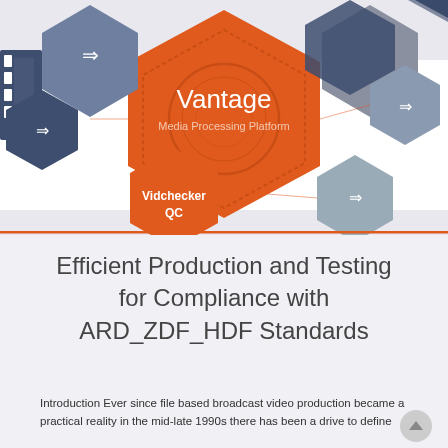[Figure (infographic): Vantage Media Processing Platform infographic with hexagonal shapes in orange and steel blue/grey, showing interconnected components including 'Vantage Media Processing Platform' central hexagon and 'Vidchecker QC' hexagon, with arrow shapes and film strip icons]
Efficient Production and Testing for Compliance with ARD_ZDF_HDF Standards
Introduction Ever since file based broadcast video production became a practical reality in the mid-late 1990s there has been a drive to define...